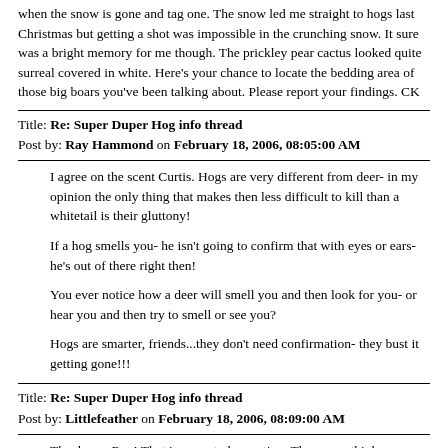when the snow is gone and tag one. The snow led me straight to hogs last Christmas but getting a shot was impossible in the crunching snow. It sure was a bright memory for me though. The prickley pear cactus looked quite surreal covered in white. Here's your chance to locate the bedding area of those big boars you've been talking about. Please report your findings. CK
Title: Re: Super Duper Hog info thread
Post by: Ray Hammond on February 18, 2006, 08:05:00 AM
I agree on the scent Curtis. Hogs are very different from deer- in my opinion the only thing that makes then less difficult to kill than a whitetail is their gluttony!

If a hog smells you- he isn't going to confirm that with eyes or ears- he's out of there right then!

You ever notice how a deer will smell you and then look for you- or hear you and then try to smell or see you?

Hogs are smarter, friends...they don't need confirmation- they bust it getting gone!!!
Title: Re: Super Duper Hog info thread
Post by: Littlefeather on February 18, 2006, 08:09:00 AM
Thank you Ray! That is a great observation. They even think